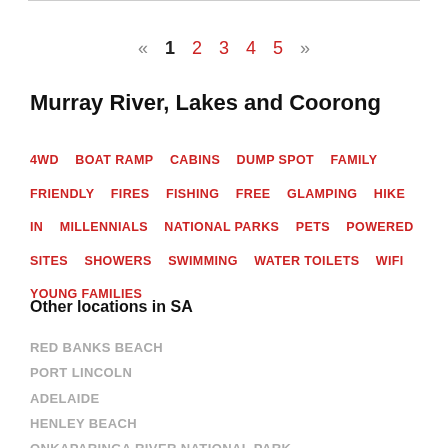« 1 2 3 4 5 »
Murray River, Lakes and Coorong
4WD  BOAT RAMP  CABINS  DUMP SPOT  FAMILY FRIENDLY  FIRES  FISHING  FREE  GLAMPING  HIKE IN  MILLENNIALS  NATIONAL PARKS  PETS  POWERED SITES  SHOWERS  SWIMMING  WATER TOILETS  WIFI  YOUNG FAMILIES
Other locations in SA
RED BANKS BEACH
PORT LINCOLN
ADELAIDE
HENLEY BEACH
ONKAPARINGA RIVER NATIONAL PARK
FLINDERS RANGES AND OUTBACK
CANUNDA NATIONAL PARK
COFFIN BAY